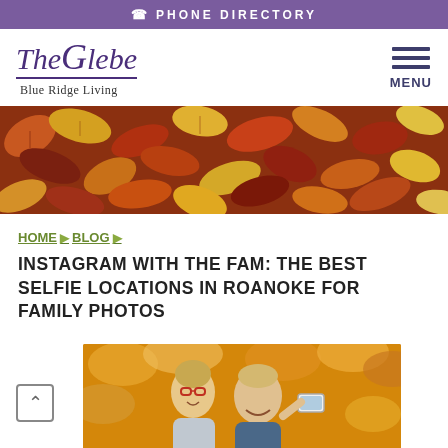PHONE DIRECTORY
[Figure (logo): The Glebe Blue Ridge Living logo with purple italic serif text and underline]
[Figure (photo): Autumn fallen leaves in shades of red, orange, yellow and purple - hero banner image]
HOME ▶ BLOG ▶
INSTAGRAM WITH THE FAM: THE BEST SELFIE LOCATIONS IN ROANOKE FOR FAMILY PHOTOS
[Figure (photo): Older couple smiling and taking a selfie outdoors with autumn foliage in the background]